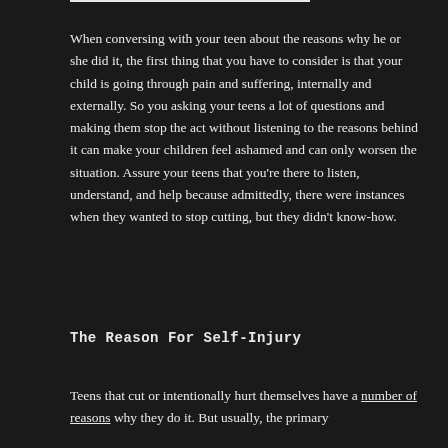When conversing with your teen about the reasons why he or she did it, the first thing that you have to consider is that your child is going through pain and suffering, internally and externally. So you asking your teens a lot of questions and making them stop the act without listening to the reasons behind it can make your children feel ashamed and can only worsen the situation. Assure your teens that you're there to listen, understand, and help because admittedly, there were instances when they wanted to stop cutting, but they didn't know-how.
The Reason For Self-Injury
Teens that cut or intentionally hurt themselves have a number of reasons why they do it. But usually, the primary